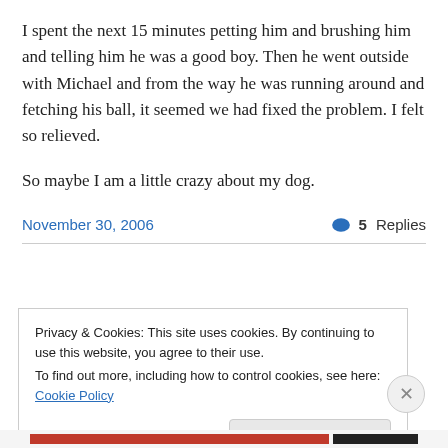I spent the next 15 minutes petting him and brushing him and telling him he was a good boy. Then he went outside with Michael and from the way he was running around and fetching his ball, it seemed we had fixed the problem. I felt so relieved.
So maybe I am a little crazy about my dog.
November 30, 2006
5 Replies
Privacy & Cookies: This site uses cookies. By continuing to use this website, you agree to their use.
To find out more, including how to control cookies, see here: Cookie Policy